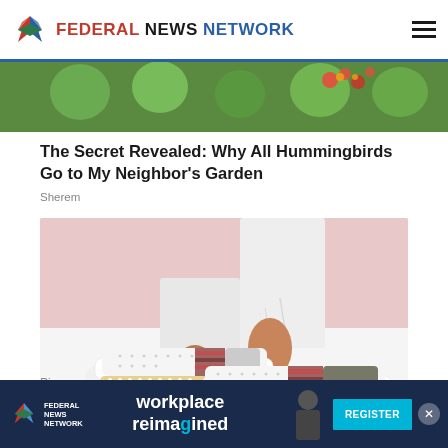FEDERAL NEWS NETWORK
[Figure (photo): Partial top image showing colorful flowers or garden, cropped at top]
The Secret Revealed: Why All Hummingbirds Go to My Neighbor's Garden
Sherem
[Figure (photo): Close-up photo of white slip-on shoes with decorative perforations, brown/striped accent stripe, and beaded sole edge, worn by a person in white jeans on a white surface against a pink background]
Pic
[Figure (infographic): Federal News Network advertisement banner: 'workplace reimagined' with REGISTER button in cyan, FNN logo on left, person silhouette on right, dark navy background, X close button]